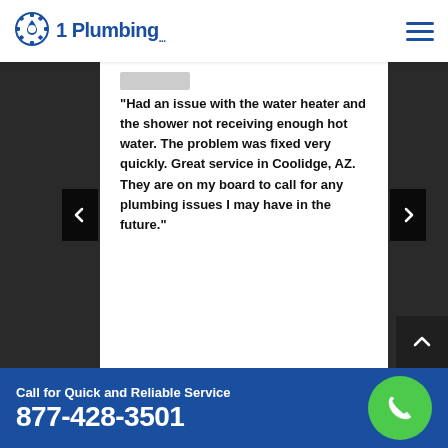1 Plumbing
"Had an issue with the water heater and the shower not receiving enough hot water. The problem was fixed very quickly. Great service in Coolidge, AZ. They are on my board to call for any plumbing issues I may have in the future."
Call for Quick and Reliable Service
877-428-3501